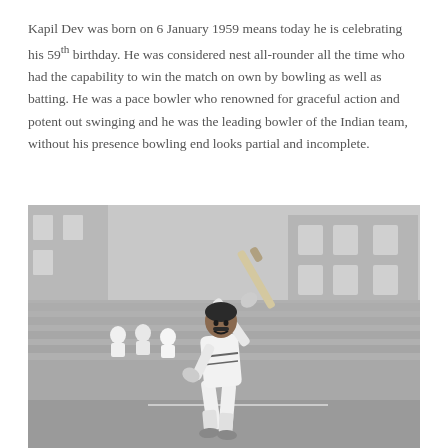Kapil Dev was born on 6 January 1959 means today he is celebrating his 59th birthday. He was considered nest all-rounder all the time who had the capability to win the match on own by bowling as well as batting. He was a pace bowler who renowned for graceful action and potent out swinging and he was the leading bowler of the Indian team, without his presence bowling end looks partial and incomplete.
[Figure (photo): Black and white photograph of Kapil Dev batting in cricket whites, swinging his bat, with stands and a building visible in the background.]